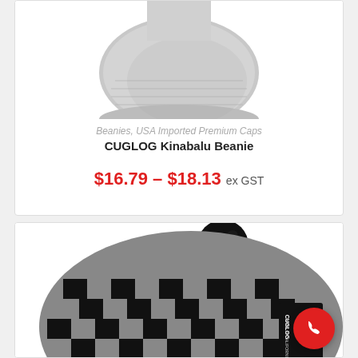[Figure (photo): Partial view of a gray CUGLOG Kinabalu beanie hat from above, white background]
Beanies, USA Imported Premium Caps
CUGLOG Kinabalu Beanie
$16.79 – $18.13 ex GST
[Figure (photo): Black and gray checkered CUGLOG pom-pom beanie with CUGLOG tag visible, displayed on white background]